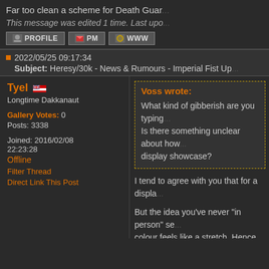Far too clean a scheme for Death Guar...
This message was edited 1 time. Last upo...
2022/05/25 09:17:34
Subject: Heresy/30k - News & Rumours - Imperial Fist Up...
Tyel
Longtime Dakkanaut
Gallery Votes: 0
Posts: 3338
Joined: 2016/02/08 22:23:28
Offline
Filter Thread
Direct Link This Post
Voss wrote:
What kind of gibberish are you typing...
Is there something unclear about how...
display showcase?
I tend to agree with you that for a displa...
But the idea you've never "in person" se...
colour feels like a stretch. Hence the me...
Frankly I'd say the moment people are p...
edges, you are into an above average p...